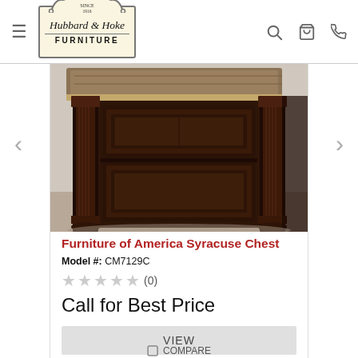Hubbard & Hoke Furniture
[Figure (photo): Close-up photo of a dark walnut/espresso wood furniture chest with decorative carved details, raised panel drawer fronts, and ornamental hardware. A decorative pillow or upholstered element is partially visible at the top.]
Furniture of America Syracuse Chest
Model #: CM7129C
(0) stars
Call for Best Price
VIEW
COMPARE